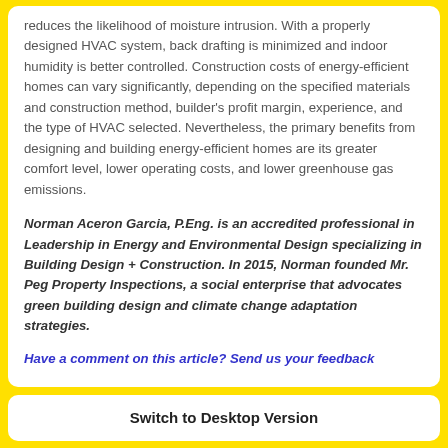reduces the likelihood of moisture intrusion. With a properly designed HVAC system, back drafting is minimized and indoor humidity is better controlled. Construction costs of energy-efficient homes can vary significantly, depending on the specified materials and construction method, builder’s profit margin, experience, and the type of HVAC selected. Nevertheless, the primary benefits from designing and building energy-efficient homes are its greater comfort level, lower operating costs, and lower greenhouse gas emissions.
Norman Aceron Garcia, P.Eng. is an accredited professional in Leadership in Energy and Environmental Design specializing in Building Design + Construction. In 2015, Norman founded Mr. Peg Property Inspections, a social enterprise that advocates green building design and climate change adaptation strategies.
Have a comment on this article? Send us your feedback
Switch to Desktop Version